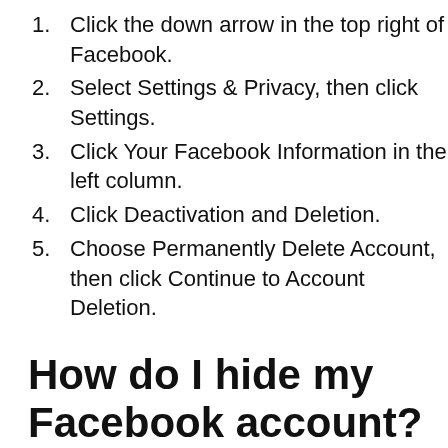Click the down arrow in the top right of Facebook.
Select Settings & Privacy, then click Settings.
Click Your Facebook Information in the left column.
Click Deactivation and Deletion.
Choose Permanently Delete Account, then click Continue to Account Deletion.
How do I hide my Facebook account?
How Do I ‘Hide’ My Personal Facebook Account?